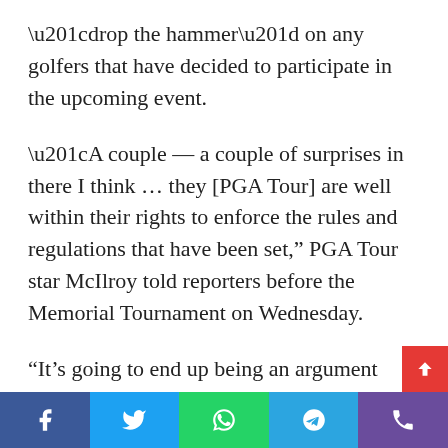“drop the hammer” on any golfers that have decided to participate in the upcoming event.
“A couple — a couple of surprises in there I think … they [PGA Tour] are well within their rights to enforce the rules and regulations that have been set,” PGA Tour star McIlroy told reporters before the Memorial Tournament on Wednesday.
“It’s going to end up being an argument about what those rules and regulations are.
“It’s not something that I would do personally. But I certainly understand why some of the guys have went, and it’s something that we are all just going to keep an eye o and see what happens over these next few weeks,” adde…
Social share bar: Facebook, Twitter, WhatsApp, Telegram, Phone